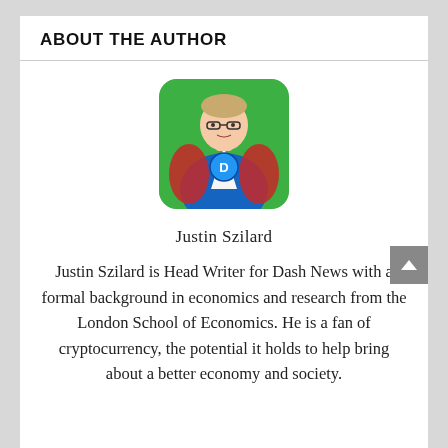ABOUT THE AUTHOR
[Figure (illustration): Illustrated portrait of Justin Szilard as a superhero, wearing a Dash cryptocurrency logo shirt, with a green background and rounded corners.]
Justin Szilard
Justin Szilard is Head Writer for Dash News with a formal background in economics and research from the London School of Economics. He is a fan of cryptocurrency, the potential it holds to help bring about a better economy and society.